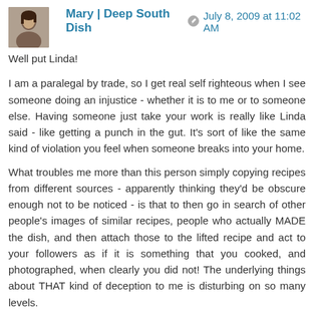Mary | Deep South Dish — July 8, 2009 at 11:02 AM
Well put Linda!

I am a paralegal by trade, so I get real self righteous when I see someone doing an injustice - whether it is to me or to someone else. Having someone just take your work is really like Linda said - like getting a punch in the gut. It's sort of like the same kind of violation you feel when someone breaks into your home.

What troubles me more than this person simply copying recipes from different sources - apparently thinking they'd be obscure enough not to be noticed - is that to then go in search of other people's images of similar recipes, people who actually MADE the dish, and then attach those to the lifted recipe and act to your followers as if it is something that you cooked, and photographed, when clearly you did not! The underlying things about THAT kind of deception to me is disturbing on so many levels.

Well that and the fact that it seems that there are still people out in the world who apparently think it is okay to lie...